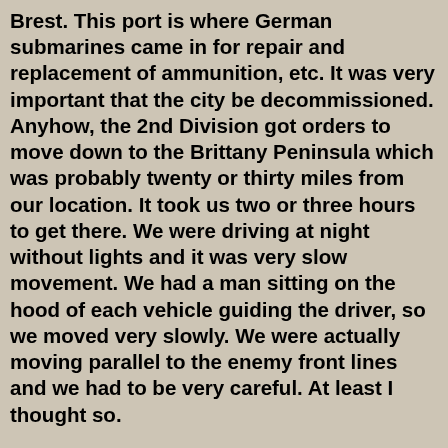Brest. This port is where German submarines came in for repair and replacement of ammunition, etc. It was very important that the city be decommissioned. Anyhow, the 2nd Division got orders to move down to the Brittany Peninsula which was probably twenty or thirty miles from our location. It took us two or three hours to get there. We were driving at night without lights and it was very slow movement. We had a man sitting on the hood of each vehicle guiding the driver, so we moved very slowly. We were actually moving parallel to the enemy front lines and we had to be very careful. At least I thought so.